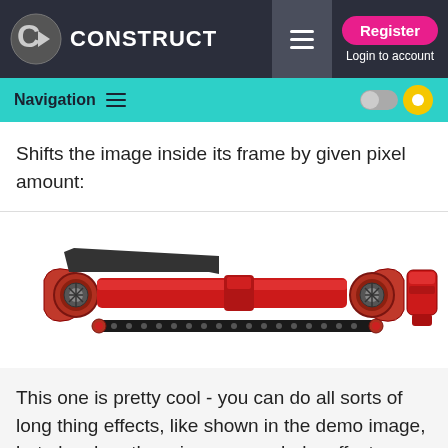CONSTRUCT — Register / Login to account
Navigation
Shifts the image inside its frame by given pixel amount:
[Figure (illustration): A mechanical red device resembling a long tool or weapon component with cylindrical body, joints, and a smaller red cylindrical piece on the right side.]
This one is pretty cool - you can do all sorts of long thing effects, like shown in the demo image, but also do rather nice screen shake effects when used